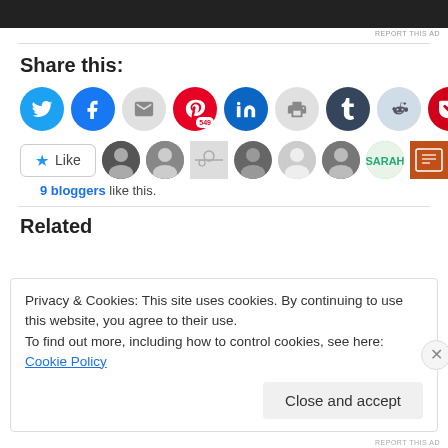[Figure (screenshot): Dark ad banner at top of page]
REPORT THIS AD
Share this:
[Figure (infographic): Social sharing icons: Twitter, Facebook, Email, Pinterest (549), LinkedIn, Print, Tumblr, Reddit, Pocket]
[Figure (infographic): Like button with star icon and 9 blogger avatar thumbnails]
9 bloggers like this.
Related
Privacy & Cookies: This site uses cookies. By continuing to use this website, you agree to their use.
To find out more, including how to control cookies, see here: Cookie Policy